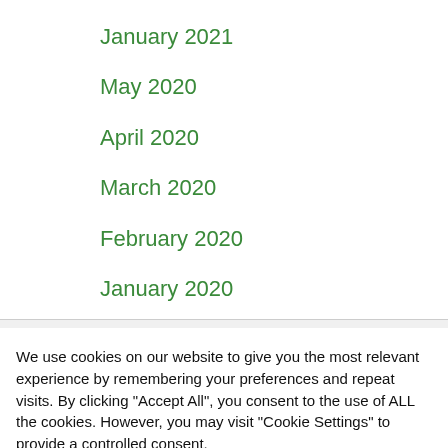January 2021
May 2020
April 2020
March 2020
February 2020
January 2020
We use cookies on our website to give you the most relevant experience by remembering your preferences and repeat visits. By clicking "Accept All", you consent to the use of ALL the cookies. However, you may visit "Cookie Settings" to provide a controlled consent.
Cookie Settings | Accept All